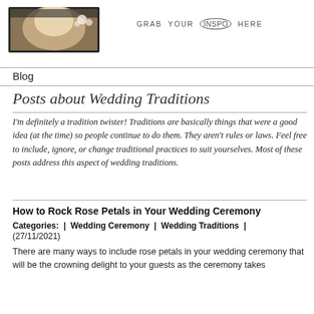[Figure (photo): Partial photo of a blonde woman with flowers, shown cropped inside a dark-bordered frame]
GRAB YOUR INSPO HERE
Blog
Posts about Wedding Traditions
I'm definitely a tradition twister! Traditions are basically things that were a good idea (at the time) so people continue to do them. They aren't rules or laws. Feel free to include, ignore, or change traditional practices to suit yourselves.  Most of these posts address this aspect of wedding traditions.
How to Rock Rose Petals in Your Wedding Ceremony
Categories:  |  Wedding Ceremony  |  Wedding Traditions  |  (27/11/2021)
There are many ways to include rose petals in your wedding ceremony that will be the crowning delight to your guests as the ceremony takes